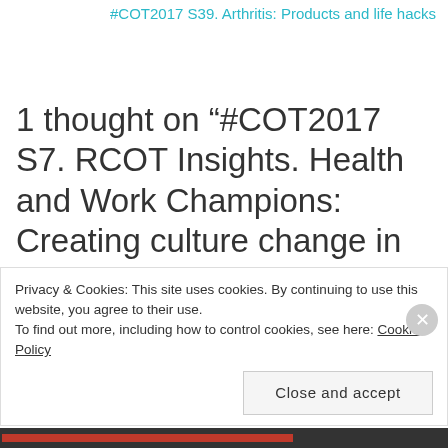#COT2017 S39. Arthritis: Products and life hacks
1 thought on “#COT2017 S7. RCOT Insights. Health and Work Champions: Creating culture change in healthcare”
Pingback: #COT2017 Your index guide to the blog posts | OTalk
Privacy & Cookies: This site uses cookies. By continuing to use this website, you agree to their use. To find out more, including how to control cookies, see here: Cookie Policy
Close and accept